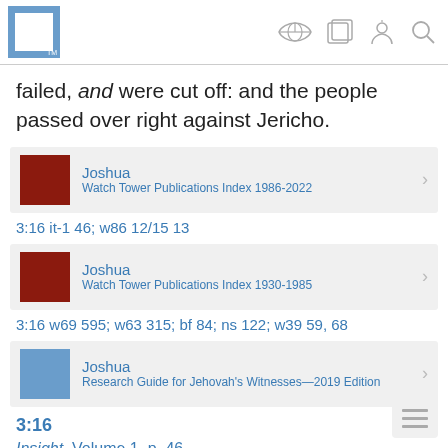JW Library app header with logo and navigation icons
failed, and were cut off: and the people passed over right against Jericho.
[Figure (other): Reference card for Joshua - Watch Tower Publications Index 1986-2022]
3:16 it-1 46; w86 12/15 13
[Figure (other): Reference card for Joshua - Watch Tower Publications Index 1930-1985]
3:16 w69 595; w63 315; bf 84; ns 122; w39 59, 68
[Figure (other): Reference card for Joshua - Research Guide for Jehovah's Witnesses—2019 Edition]
3:16
Insight, Volume 1, p. 46